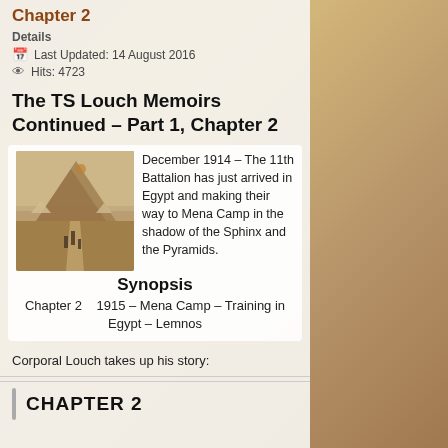Chapter 2
Details
Last Updated: 14 August 2016
Hits: 4723
The TS Louch Memoirs Continued – Part 1, Chapter 2
[Figure (photo): Sepia historical photograph showing men walking along a path toward a large pyramid with tents visible in the background, Mena Camp Egypt 1914]
December 1914 – The 11th Battalion has just arrived in Egypt and making their way to Mena Camp in the shadow of the Sphinx and the Pyramids.
Synopsis
Chapter 2    1915 – Mena Camp – Training in Egypt – Lemnos
Corporal Louch takes up his story:
CHAPTER 2